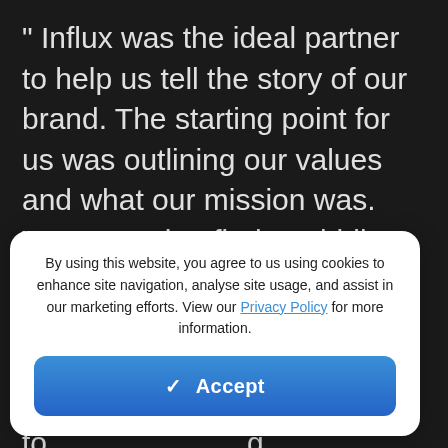" Influx was the ideal partner to help us tell the story of our brand. The starting point for us was outlining our values and what our mission was. We wanted to find a middle ground so our logo and other materials could be visually interesting and memorable to prospects, but also high-tech to [partially obscured] to [partially obscured] e[partially obscured]
By using this website, you agree to us using cookies to enhance site navigation, analyse site usage, and assist in our marketing efforts. View our Privacy Policy for more information.
Accept